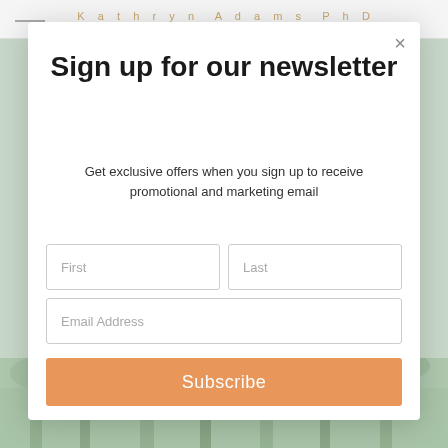[Figure (screenshot): Newsletter sign-up modal popup over a website background with forest photo at the bottom]
Sign up for our newsletter
Get exclusive offers when you sign up to receive promotional and marketing email
First
Last
Email Address
Subscribe